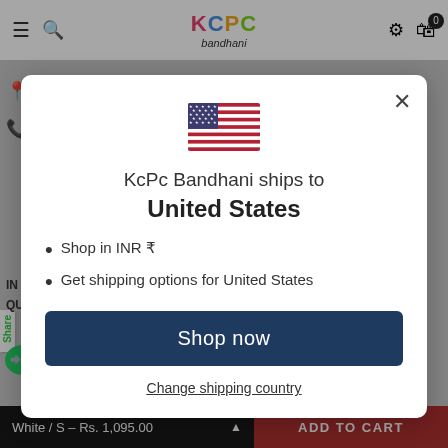[Figure (screenshot): E-commerce website header with hamburger menu, search icon, KCPC Bandhani logo, settings icon, and cart icon]
[Figure (screenshot): Modal dialog showing US flag, shipping info for United States, bullet points about INR and shipping options, Shop now button, and Change shipping country link]
KcPc Bandhani ships to United States
Shop in INR ₹
Get shipping options for United States
Shop now
Change shipping country
White / S – Rs. 1,095.00   ADD TO CART